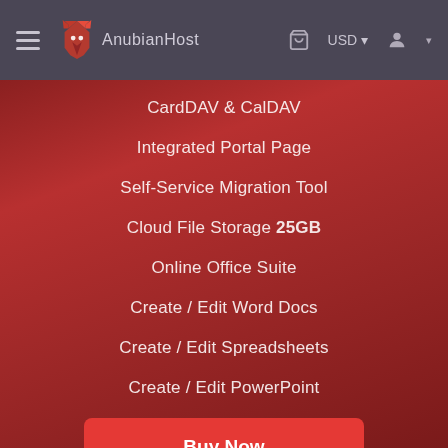AnubianHost — USD navigation bar
CardDAV & CalDAV
Integrated Portal Page
Self-Service Migration Tool
Cloud File Storage 25GB
Online Office Suite
Create / Edit Word Docs
Create / Edit Spreadsheets
Create / Edit PowerPoint
Buy Now